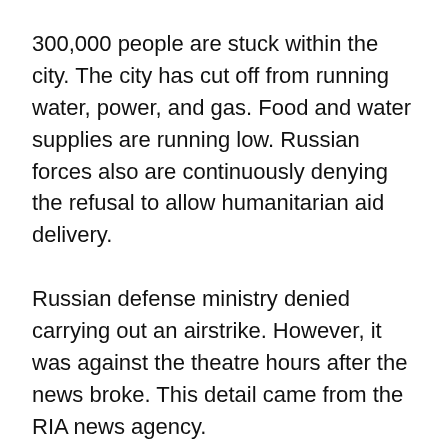300,000 people are stuck within the city. The city has cut off from running water, power, and gas. Food and water supplies are running low. Russian forces also are continuously denying the refusal to allow humanitarian aid delivery.
Russian defense ministry denied carrying out an airstrike. However, it was against the theatre hours after the news broke. This detail came from the RIA news agency.
According to Mr. Orlov, the deputy mayor, over 1,500 automobiles fled Mariupol on Wednesday